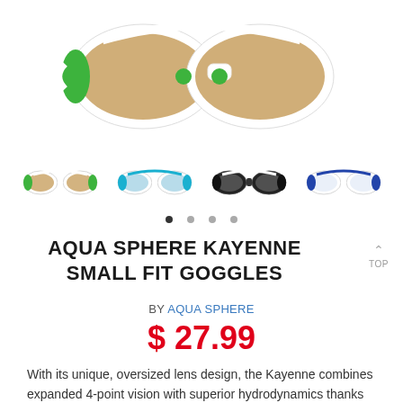[Figure (photo): Aqua Sphere Kayenne Small Fit Goggles - white and green with brown/amber lenses, top view, partially cropped at top of page]
[Figure (photo): Four thumbnail images of Aqua Sphere Kayenne goggles in different color variants: white/green with amber, blue with mirrored, black/white with smoke, and white/blue clear lenses]
AQUA SPHERE KAYENNE SMALL FIT GOGGLES
BY AQUA SPHERE
$ 27.99
With its unique, oversized lens design, the Kayenne combines expanded 4-point vision with superior hydrodynamics thanks to its